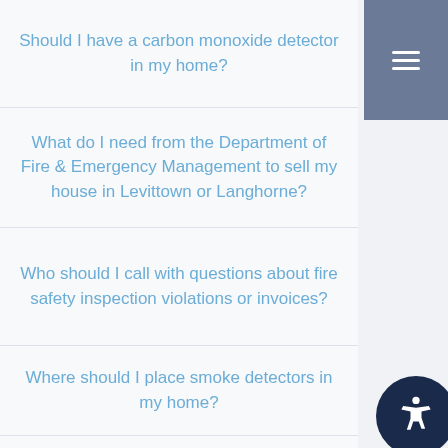Should I have a carbon monoxide detector in my home?
What do I need from the Department of Fire & Emergency Management to sell my house in Levittown or Langhorne?
Who should I call with questions about fire safety inspection violations or invoices?
Where should I place smoke detectors in my home?
Where can I find information about the fees for commercial fire inspections?